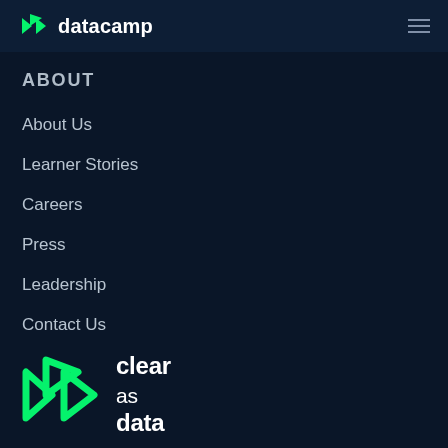datacamp
ABOUT
About Us
Learner Stories
Careers
Press
Leadership
Contact Us
[Figure (logo): DataCamp logo with green angular DC icon and 'clear as data' tagline text in white]